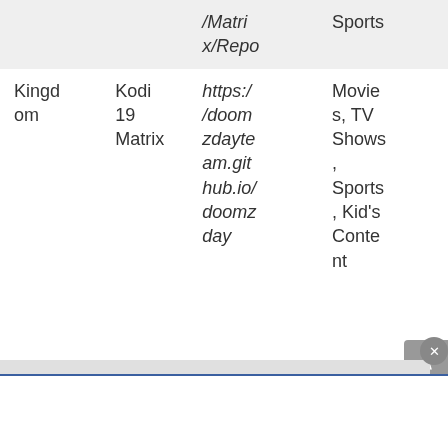| Name | Version | URL | Content |
| --- | --- | --- | --- |
|  |  | /Matrix/Repo | Sports |
| Kingdom | Kodi 19 Matrix | https://doomzdayteam.github.io/doomzday | Movies, TV Shows, Sports, Kid's Content |